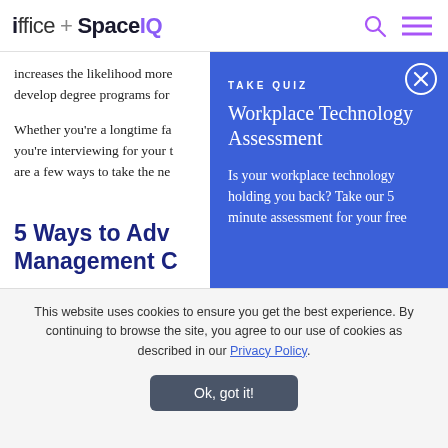ioffice + SpaceIQ
increases the likelihood more develop degree programs for
Whether you're a longtime fa you're interviewing for your t are a few ways to take the ne
5 Ways to Adv Management C
[Figure (screenshot): Blue quiz overlay panel with close button (X), label 'TAKE QUIZ', title 'Workplace Technology Assessment', and description 'Is your workplace technology holding you back? Take our 5 minute assessment for your free']
This website uses cookies to ensure you get the best experience. By continuing to browse the site, you agree to our use of cookies as described in our Privacy Policy.
Ok, got it!